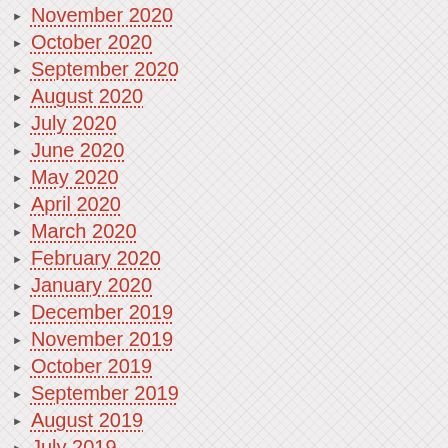November 2020
October 2020
September 2020
August 2020
July 2020
June 2020
May 2020
April 2020
March 2020
February 2020
January 2020
December 2019
November 2019
October 2019
September 2019
August 2019
July 2019
June 2019